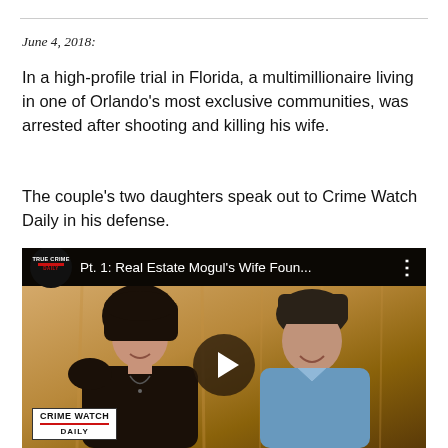June 4, 2018:
In a high-profile trial in Florida, a multimillionaire living in one of Orlando's most exclusive communities, was arrested after shooting and killing his wife.
The couple's two daughters speak out to Crime Watch Daily in his defense.
[Figure (screenshot): YouTube video thumbnail showing 'Pt. 1: Real Estate Mogul's Wife Foun...' with True Crime Daily badge and Crime Watch Daily badge, featuring a couple smiling with a play button overlay.]